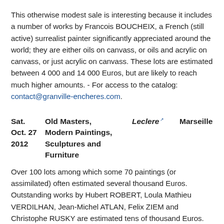This otherwise modest sale is interesting because it includes a number of works by Francois BOUCHEIX, a French (still active) surrealist painter significantly appreciated around the world; they are either oils on canvass, or oils and acrylic on canvass, or just acrylic on canvass. These lots are estimated between 4 000 and 14 000 Euros, but are likely to reach much higher amounts. - For access to the catalog: contact@granville-encheres.com.
Sat. Oct. 27 2012  Old Masters, Modern Paintings, Sculptures and Furniture  Leclere  Marseille
Over 100 lots among which some 70 paintings (or assimilated) often estimated several thousand Euros. Outstanding works by Hubert ROBERT, Loula Mathieu VERDILHAN, Jean-Michel ATLAN, Felix ZIEM and Christophe RUSKY are estimated tens of thousand Euros.